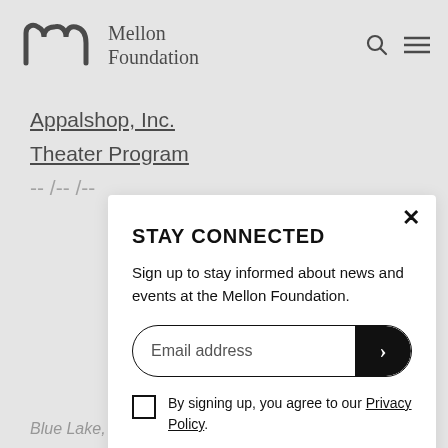[Figure (logo): Mellon Foundation logo with stylized 'm' icon and text 'Mellon Foundation']
Appalshop, Inc.
Theater Program
STAY CONNECTED
Sign up to stay informed about news and events at the Mellon Foundation.
Email address
By signing up, you agree to our Privacy Policy.
Blue Lake, CA, United States